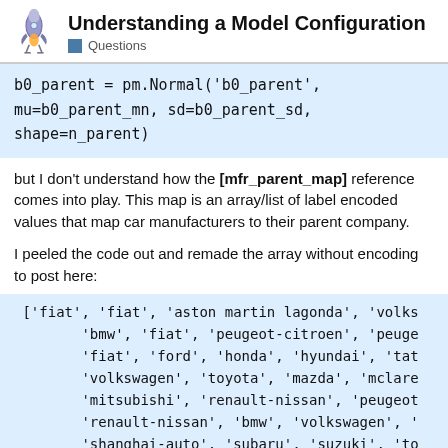Understanding a Model Configuration
Questions
but I don't understand how the [mfr_parent_map] reference comes into play. This map is an array/list of label encoded values that map car manufacturers to their parent company.
I peeled the code out and remade the array without encoding to post here: